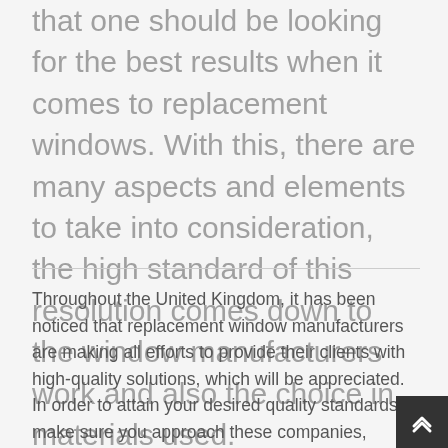that one should be looking for the best results when it comes to replacement windows. With this, there are many aspects and elements to take into consideration, the high standard of this resolution comes down to the window manufacturers work and also the choice in materials used.
Throughout the United Kingdom, it has been noticed that replacement window manufacturers are making all efforts to provide their clients with high-quality solutions, which will be appreciated. In order to attain your desired quality standards, make sure you approach these companies, providing you the best possible solutions. East Moors Replacement Windows is the unique company in this field, which is always searching for modern methods to upgrade the work that they offer to each of their clients.